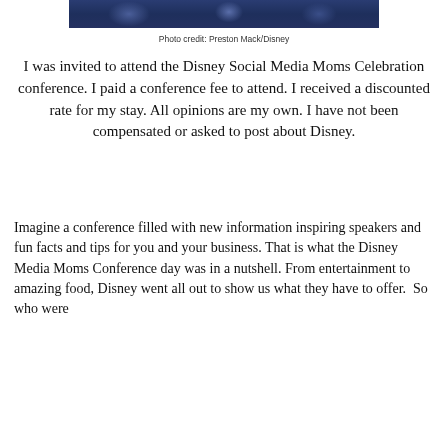[Figure (photo): Bottom portion of a photo showing people in blue uniforms or costumes, likely at a Disney event]
Photo credit: Preston Mack/Disney
I was invited to attend the Disney Social Media Moms Celebration conference. I paid a conference fee to attend. I received a discounted rate for my stay. All opinions are my own. I have not been compensated or asked to post about Disney.
Imagine a conference filled with new information inspiring speakers and fun facts and tips for you and your business. That is what the Disney Media Moms Conference day was in a nutshell. From entertainment to amazing food, Disney went all out to show us what they have to offer.  So who were the speakers that would talk to us about what Disney has...